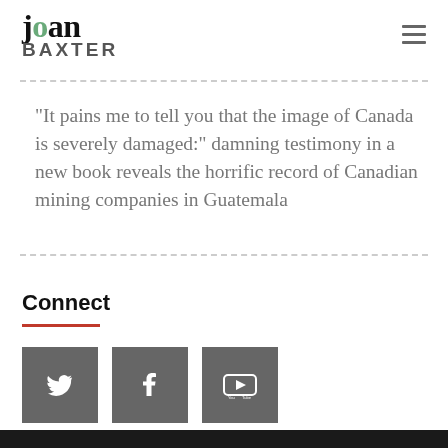joan BAXTER
“It pains me to tell you that the image of Canada is severely damaged:” damning testimony in a new book reveals the horrific record of Canadian mining companies in Guatemala
Connect
[Figure (other): Three social media icon buttons: Twitter (bird icon), Facebook (f icon), YouTube (play button icon), all on grey square backgrounds]